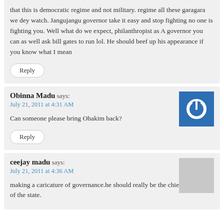that this is democratic regime and not military. regime all these garagara we dey watch. Jangujangu governor take it easy and stop fighting no one is fighting you. Well what do we expect, philanthropist as A governor you can as well ask bill gates to run lol. He should beef up his appearance if you know what I mean
Reply
Obinna Madu says:
July 21, 2011 at 4:31 AM
[Figure (illustration): Blue square avatar with a white power/on button symbol in the center]
Can someone please bring Ohakim back?
Reply
ceejay madu says:
July 21, 2011 at 4:36 AM
[Figure (illustration): Gray square placeholder avatar]
making a caricature of governance.he should really be the chief comedian of the state.